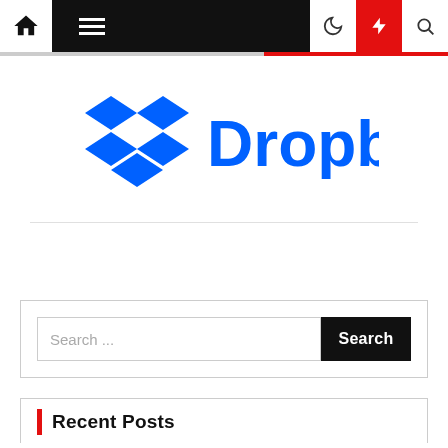Navigation bar with home, menu, moon, bolt (red), search icons
[Figure (logo): Dropbox logo: blue diamond/box icon with text 'Dropbox' in blue]
Search ...
Recent Posts